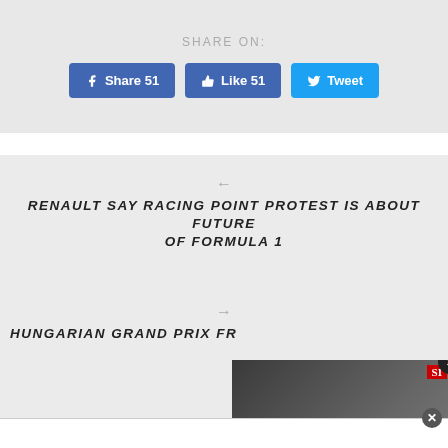SHARE ON:
Share 51
Like 51
Tweet
RENAULT SAY RACING POINT PROTEST IS ABOUT FUTURE OF FORMULA 1
HUNGARIAN GRAND PRIX FR...
[Figure (screenshot): Video player overlay showing a racing driver with SI badge, play button, and caption about Kimi Raikkonen at Watkins Glen NASCAR Cup Series debut.]
KIMI RAIKKONEN'S PRESENCE AT WATKINS GLEN THIS WEEKEND WILL LIKELY GARNER GLOBAL ATTENTION AS HE MAKES HIS NASCAR CUP SERIES DEBUT.